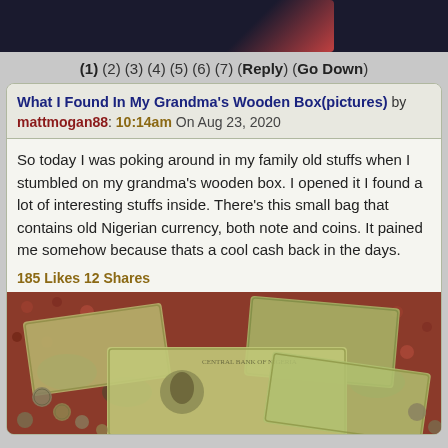[Figure (photo): Dark header image with a decorative banner, dark background with a reddish accent]
(1) (2) (3) (4) (5) (6) (7) (Reply) (Go Down)
What I Found In My Grandma's Wooden Box(pictures) by mattmogan88: 10:14am On Aug 23, 2020
So today I was poking around in my family old stuffs when I stumbled on my grandma's wooden box. I opened it I found a lot of interesting stuffs inside. There's this small bag that contains old Nigerian currency, both note and coins. It pained me somehow because thats a cool cash back in the days.
185 Likes 12 Shares
[Figure (photo): Photo of old Nigerian currency notes and coins spread on a decorative fabric]